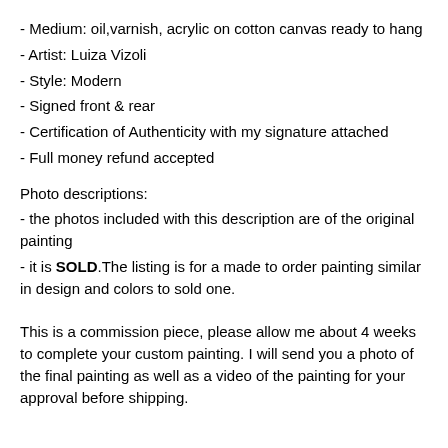- Medium: oil,varnish, acrylic on cotton canvas ready to hang
- Artist: Luiza Vizoli
- Style: Modern
- Signed front & rear
- Certification of Authenticity with my signature attached
- Full money refund accepted
Photo descriptions:
- the photos included with this description are of the original painting
- it is SOLD.The listing is for a made to order painting similar in design and colors to sold one.
This is a commission piece, please allow me about 4 weeks to complete your custom painting. I will send you a photo of the final painting as well as a video of the painting for your approval before shipping.